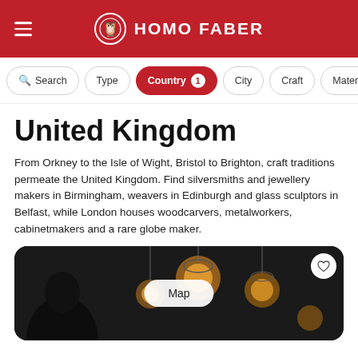HOMO FABER
Search | Type | Country 1 | City | Craft | Mater...
United Kingdom
From Orkney to the Isle of Wight, Bristol to Brighton, craft traditions permeate the United Kingdom. Find silversmiths and jewellery makers in Birmingham, weavers in Edinburgh and glass sculptors in Belfast, while London houses woodcarvers, metalworkers, cabinetmakers and a rare globe maker.
[Figure (photo): Dark photograph of a person looking at decorative glass pendant lamps with a 'Map' button overlay and heart/favorite icon]